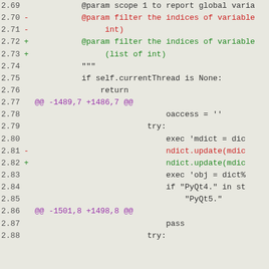2.69  @param scope 1 to report global varia
2.70 -  @param filter the indices of variable
2.71 -       int)
2.72 +  @param filter the indices of variable
2.73 +       (list of int)
2.74      """
2.75      if self.currentThread is None:
2.76          return
2.77 @@ -1489,7 +1486,7 @@
2.78                              oaccess = ''
2.79                          try:
2.80                              exec 'mdict = dic
2.81 -                              ndict.update(mdic
2.82 +                              ndict.update(mdic
2.83                              exec 'obj = dict%
2.84                              if "PyQt4." in st
2.85                                      "PyQt5."
2.86 @@ -1501,8 +1498,8 @@
2.87                              pass
2.88                          try: